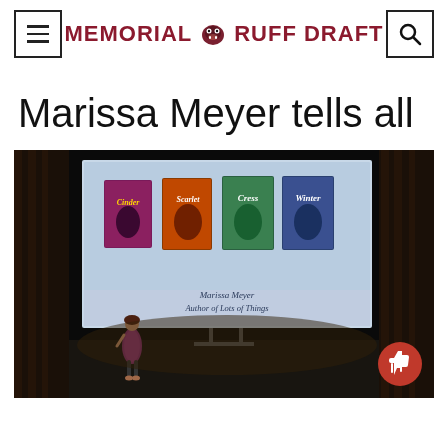MEMORIAL RUFF DRAFT
Marissa Meyer tells all
[Figure (photo): Speaker (Marissa Meyer) standing on a dark stage in front of a large projection screen showing book covers (Cinder, Scarlet, Cress, Winter) and text 'Marissa Meyer, Author of Lots of Things']